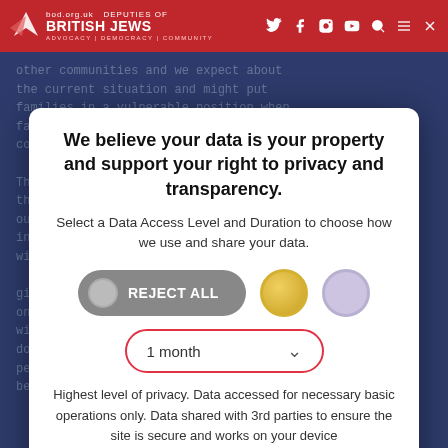bod.org.uk | DEPUTIES OF BRITISH JEWS
[Figure (screenshot): Website background showing article text about organ donation in dark blue overlay]
We believe your data is your property and support your right to privacy and transparency.
Select a Data Access Level and Duration to choose how we use and share your data.
[Figure (other): REJECT ALL toggle button with gold and purple circle icons]
[Figure (other): 1 month dropdown selector with red border]
Highest level of privacy. Data accessed for necessary basic operations only. Data shared with 3rd parties to ensure the site is secure and works on your device
[Figure (other): Save my preferences red button]